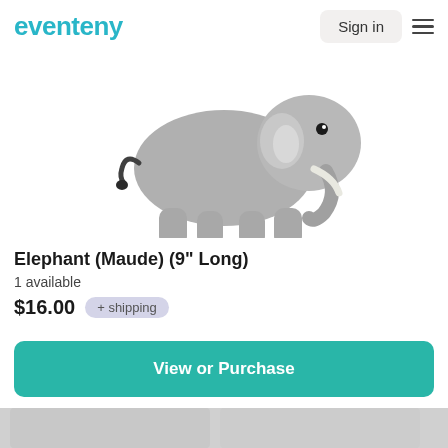eventeny
[Figure (photo): A grey stuffed elephant plush toy (Maude), standing on four legs, photographed against a white background. The elephant has a black bead eye, a cloth tusk, and a short tail.]
Elephant (Maude) (9" Long)
1 available
$16.00  + shipping
View or Purchase